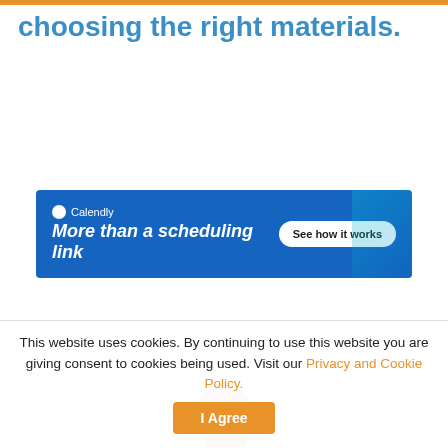choosing the right materials.
[Figure (screenshot): Calendly advertisement banner: 'More than a scheduling link' with 'See how it works' button on blue background]
PAGE 1 OF 2  1  2  >
Tags: Design  Workplace Design
[Figure (infographic): Social sharing buttons: Facebook, Twitter, LinkedIn, and Share icons]
[Figure (photo): Profile photo of a person with brown/red hair, partially visible at bottom]
This website uses cookies. By continuing to use this website you are giving consent to cookies being used. Visit our Privacy and Cookie Policy.
I Agree